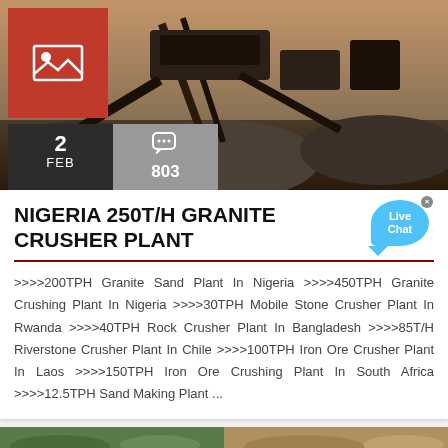[Figure (photo): Granite crusher plant machinery at dusk with conveyor belts and piles of crushed stone]
2
FEB
803
NIGERIA 250T/H GRANITE CRUSHER PLANT
>>>>200TPH Granite Sand Plant In Nigeria >>>>450TPH Granite Crushing Plant In Nigeria >>>>30TPH Mobile Stone Crusher Plant In Rwanda >>>>40TPH Rock Crusher Plant In Bangladesh >>>>85T/H Riverstone Crusher Plant In Chile >>>>100TPH Iron Ore Crusher Plant In Laos >>>>150TPH Iron Ore Crushing Plant In South Africa >>>>12.5TPH Sand Making Plant ...
[Figure (photo): Partial bottom strip showing two images side by side]